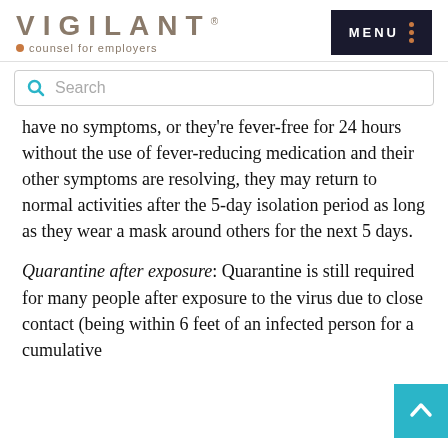VIGILANT • counsel for employers
have no symptoms, or they're fever-free for 24 hours without the use of fever-reducing medication and their other symptoms are resolving, they may return to normal activities after the 5-day isolation period as long as they wear a mask around others for the next 5 days.
Quarantine after exposure: Quarantine is still required for many people after exposure to the virus due to close contact (being within 6 feet of an infected person for a cumulative